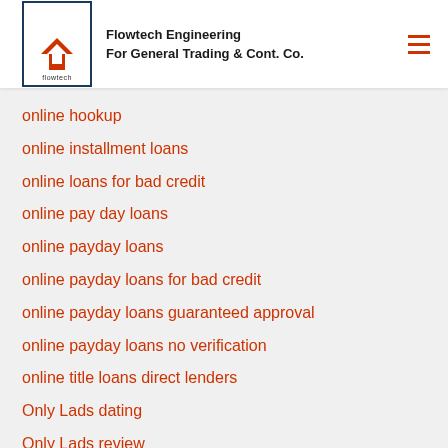Flowtech Engineering For General Trading & Cont. Co.
online hookup
online installment loans
online loans for bad credit
online pay day loans
online payday loans
online payday loans for bad credit
online payday loans guaranteed approval
online payday loans no verification
online title loans direct lenders
Only Lads dating
Only Lads review